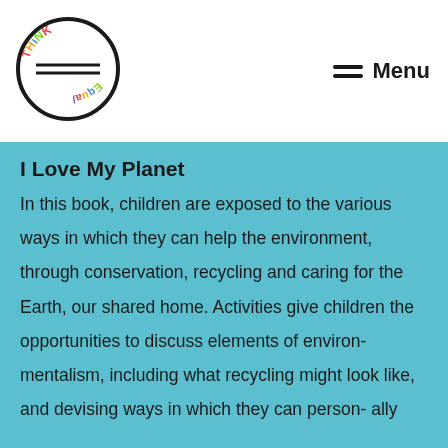[Figure (logo): Think Equal circular logo with colorful letters around the top and 'Equal' written upside down at the bottom, inside a dark circle border]
Menu
I Love My Planet
In this book, children are exposed to the various ways in which they can help the environment, through conservation, recycling and caring for the Earth, our shared home. Activities give children the opportunities to discuss elements of environ- mentalism, including what recycling might look like, and devising ways in which they can person- ally